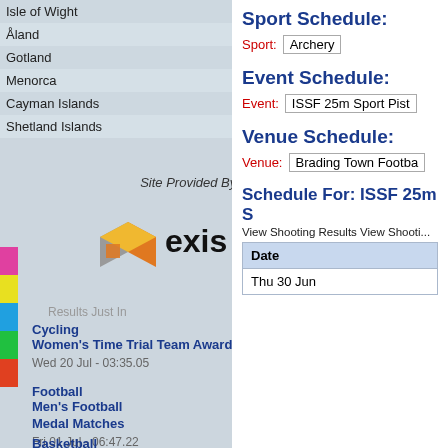| Territory | Gold | Silver | Bronze |
| --- | --- | --- | --- |
| Isle of Wight | 17 | 15 | 21 |
| Åland | 14 | 7 | 13 |
| Gotland | 9 | 12 | 21 |
| Menorca | 8 | 8 | 12 |
| Cayman Islands | 8 | 7 | 8 |
| Shetland Islands | 7 | 4 | 4 |
[Figure (logo): Exis logo with text 'Site Provided By: exis']
Results Just In
Cycling
Women's Time Trial Team Award Final
Wed 20 Jul - 03:35.05
Football
Men's Football Medal Matches
Fri 01 Jul - 06:47.22
Basketball
Women's Basketball Medal Matches
Sport Schedule:
Sport: Archery
Event Schedule:
Event: ISSF 25m Sport Pist...
Venue Schedule:
Venue: Brading Town Footba...
Schedule For: ISSF 25m S...
View Shooting Results View Shooti...
| Date |
| --- |
| Thu 30 Jun |